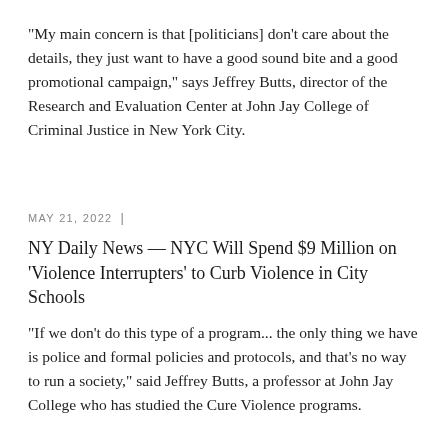"My main concern is that [politicians] don't care about the details, they just want to have a good sound bite and a good promotional campaign," says Jeffrey Butts, director of the Research and Evaluation Center at John Jay College of Criminal Justice in New York City.
MAY 21, 2022  |
NY Daily News — NYC Will Spend $9 Million on 'Violence Interrupters' to Curb Violence in City Schools
"If we don't do this type of a program... the only thing we have is police and formal policies and protocols, and that's no way to run a society," said Jeffrey Butts, a professor at John Jay College who has studied the Cure Violence programs.
MAY 12, 2022  |